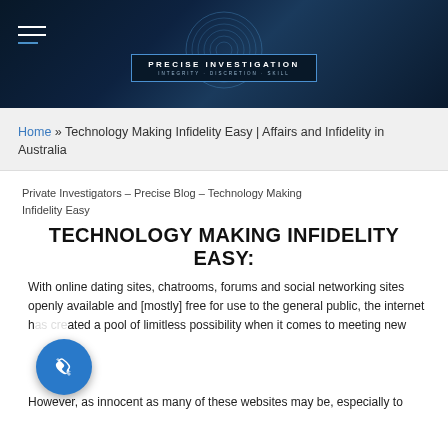[Figure (logo): Precise Investigation logo — dark navy hexagonal badge with fingerprint graphic and text 'PRECISE INVESTIGATION INTEGRITY · DISCRETION · SKILL']
Home » Technology Making Infidelity Easy | Affairs and Infidelity in Australia
Private Investigators – Precise Blog – Technology Making Infidelity Easy
TECHNOLOGY MAKING INFIDELITY EASY:
With online dating sites, chatrooms, forums and social networking sites openly available and [mostly] free for use to the general public, the internet has created a pool of limitless possibility when it comes to meeting new
However, as innocent as many of these websites may be, especially to